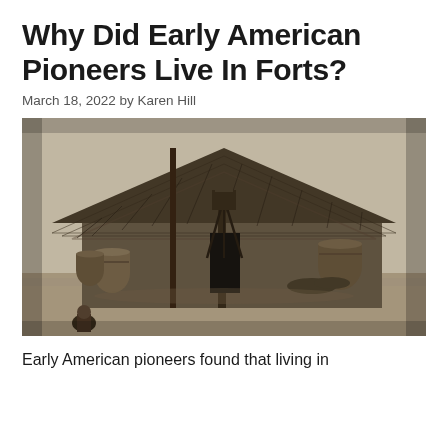Why Did Early American Pioneers Live In Forts?
March 18, 2022 by Karen Hill
[Figure (photo): Black and white historical photograph of a thatched-roof pioneer structure, resembling a large hut or shelter with a palm/grass thatched roof. Various barrels and equipment are visible outside. A person is visible in the lower left foreground.]
Early American pioneers found that living in